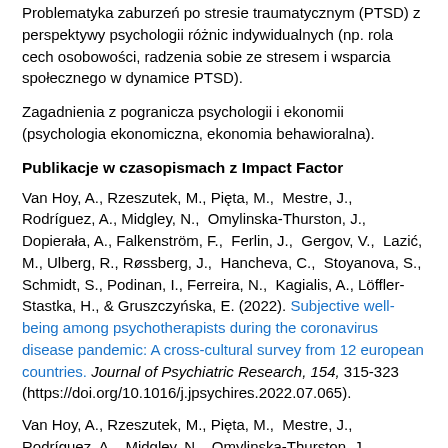Problematyka zaburzeń po stresie traumatycznym (PTSD) z perspektywy psychologii różnic indywidualnych (np. rola cech osobowości, radzenia sobie ze stresem i wsparcia społecznego w dynamice PTSD).
Zagadnienia z pogranicza psychologii i ekonomii (psychologia ekonomiczna, ekonomia behawioralna).
Publikacje w czasopismach z Impact Factor
Van Hoy, A., Rzeszutek, M., Pięta, M., Mestre, J., Rodríguez, A., Midgley, N., Omylinska-Thurston, J., Dopierała, A., Falkenström, F., Ferlin, J., Gergov, V., Lazić, M., Ulberg, R., Røssberg, J., Hancheva, C., Stoyanova, S., Schmidt, S., Podinan, I., Ferreira, N., Kagialis, A., Löffler-Stastka, H., & Gruszczyńska, E. (2022). Subjective well-being among psychotherapists during the coronavirus disease pandemic: A cross-cultural survey from 12 european countries. Journal of Psychiatric Research, 154, 315-323 (https://doi.org/10.1016/j.jpsychires.2022.07.065).
Van Hoy, A., Rzeszutek, M., Pięta, M., Mestre, J., Rodríguez, A., Midgley, N., Omylinska-Thurston, J., Dopierała, A.,